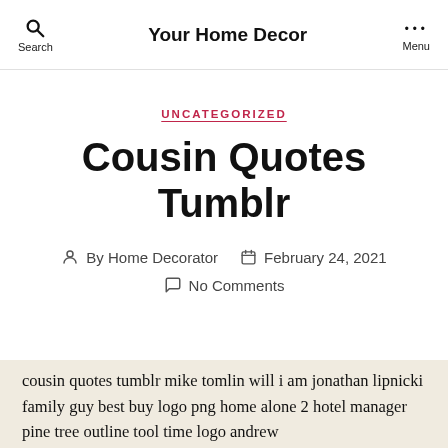Your Home Decor
UNCATEGORIZED
Cousin Quotes Tumblr
By Home Decorator  February 24, 2021  No Comments
cousin quotes tumblr mike tomlin will i am jonathan lipnicki family guy best buy logo png home alone 2 hotel manager pine tree outline tool time logo andrew